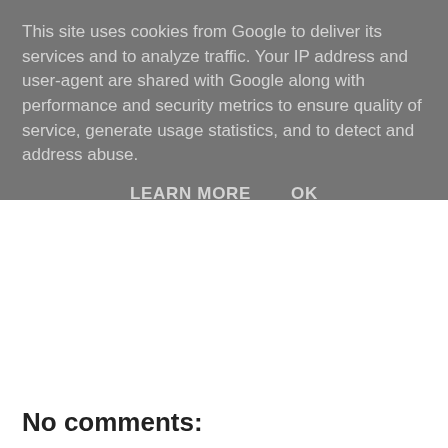This site uses cookies from Google to deliver its services and to analyze traffic. Your IP address and user-agent are shared with Google along with performance and security metrics to ensure quality of service, generate usage statistics, and to detect and address abuse.
LEARN MORE    OK
No comments: